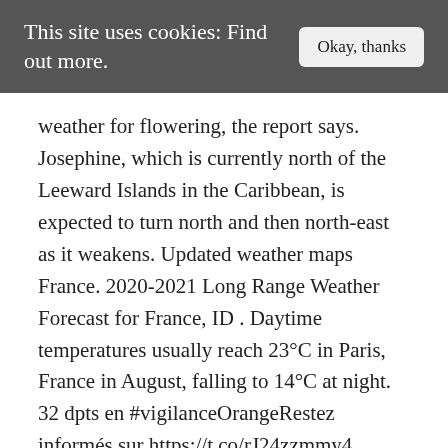This site uses cookies: Find out more.  Okay, thanks
weather for flowering, the report says. Josephine, which is currently north of the Leeward Islands in the Caribbean, is expected to turn north and then north-east as it weakens. Updated weather maps France. 2020-2021 Long Range Weather Forecast for France, ID . Daytime temperatures usually reach 23°C in Paris, France in August, falling to 14°C at night. 32 dpts en #vigilanceOrangeRestez informés sur https://t.co/rJ24zzmmy4 pic.twitter.com/YNg3Xpk4QU. Biggest Selection. BBC Weather has forecast a resurgence